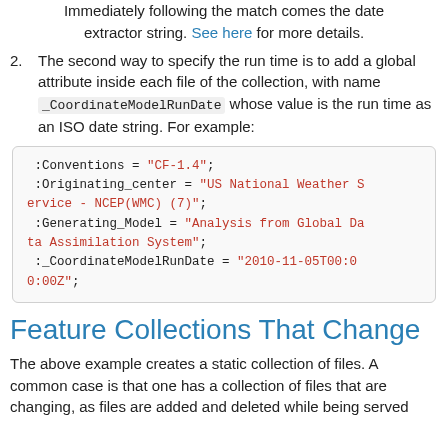Immediately following the match comes the date extractor string. See here for more details.
2. The second way to specify the run time is to add a global attribute inside each file of the collection, with name _CoordinateModelRunDate whose value is the run time as an ISO date string. For example:
:Conventions = "CF-1.4";
:Originating_center = "US National Weather Service - NCEP(WMC) (7)";
:Generating_Model = "Analysis from Global Data Assimilation System";
:_CoordinateModelRunDate = "2010-11-05T00:00:00Z";
Feature Collections That Change
The above example creates a static collection of files. A common case is that one has a collection of files that are changing, as files are added and deleted while being served